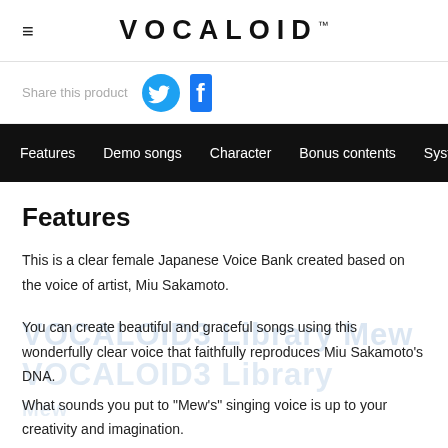VOCALOID™
Share this product
Features   Demo songs   Character   Bonus contents   System requireme...
Features
This is a clear female Japanese Voice Bank created based on the voice of artist, Miu Sakamoto.
You can create beautiful and graceful songs using this wonderfully clear voice that faithfully reproduces Miu Sakamoto's DNA.
What sounds you put to "Mew's" singing voice is up to your creativity and imagination.
You can bring out Mew's full potential.